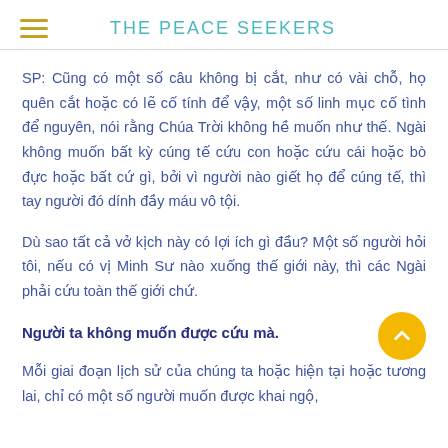THE PEACE SEEKERS
SP: Cũng có một số câu không bị cắt, như có vài chỗ, họ quên cắt hoặc có lẽ cố tính để vậy, một số linh mục cố tình để nguyên, nói rằng Chúa Trời không hề muốn như thế. Ngài không muốn bất kỳ cúng tế cứu con hoặc cứu cái hoặc bò đực hoặc bất cứ gì, bởi vì người nào giết họ để cúng tế, thì tay người đó dính đầy máu vô tội.
Dù sao tất cả vở kịch này có lợi ích gì đầu? Một số người hỏi tôi, nếu có vị Minh Sư nào xuống thế giới này, thì các Ngài phải cứu toàn thế giới chứ.
Người ta không muốn được cứu mà.
Mỗi giai đoạn lịch sử của chúng ta hoặc hiện tại hoặc tương lai, chỉ có một số người muốn được khai ngộ,